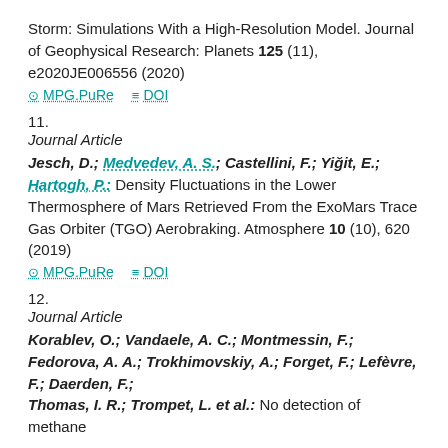Storm: Simulations With a High-Resolution Model. Journal of Geophysical Research: Planets 125 (11), e2020JE006556 (2020)
MPG.PuRe   DOI
11.
Journal Article
Jesch, D.; Medvedev, A. S.; Castellini, F.; Yiğit, E.; Hartogh, P.: Density Fluctuations in the Lower Thermosphere of Mars Retrieved From the ExoMars Trace Gas Orbiter (TGO) Aerobraking. Atmosphere 10 (10), 620 (2019)
MPG.PuRe   DOI
12.
Journal Article
Korablev, O.; Vandaele, A. C.; Montmessin, F.; Fedorova, A. A.; Trokhimovskiy, A.; Forget, F.; Lefèvre, F.; Daerden, F.; Thomas, I. R.; Trompet, L. et al.: No detection of methane...